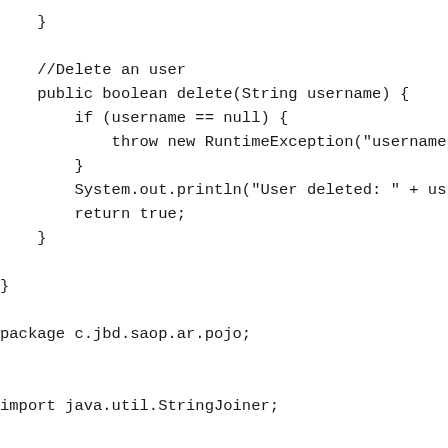}

    //Delete an user
    public boolean delete(String username) {
        if (username == null) {
            throw new RuntimeException("username i
        }
        System.out.println("User deleted: " + us
        return true;
    }

}

package c.jbd.saop.ar.pojo;


import java.util.StringJoiner;